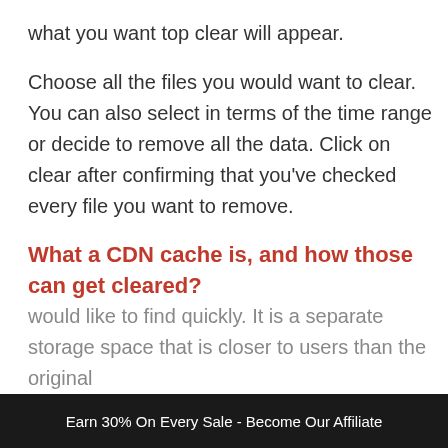what you want top clear will appear.
Choose all the files you would want to clear. You can also select in terms of the time range or decide to remove all the data. Click on clear after confirming that you've checked every file you want to remove.
What a CDN cache is, and how those can get cleared?
A CDN cache or content delivery network works like other cache storages to keep files that users would like to find quickly. It is a separate storage space that is closer to users than the original
Earn 30% On Every Sale - Become Our Affiliate